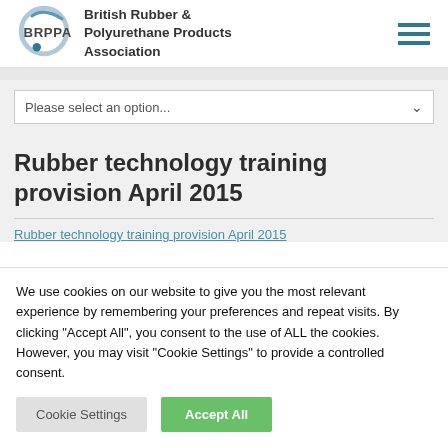British Rubber & Polyurethane Products Association
Please select an option...
Rubber technology training provision April 2015
Rubber technology training provision April 2015
We use cookies on our website to give you the most relevant experience by remembering your preferences and repeat visits. By clicking "Accept All", you consent to the use of ALL the cookies. However, you may visit "Cookie Settings" to provide a controlled consent.
Cookie Settings
Accept All